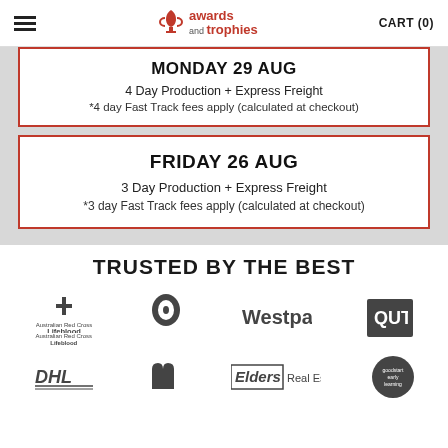Awards and Trophies | CART (0)
MONDAY 29 AUG
4 Day Production + Express Freight
*4 day Fast Track fees apply (calculated at checkout)
FRIDAY 26 AUG
3 Day Production + Express Freight
*3 day Fast Track fees apply (calculated at checkout)
TRUSTED BY THE BEST
[Figure (logo): Brand logos: Australian Red Cross Lifeblood, Telstra, Westpac, QUT, DHL, McDonald's, Elders Real Estate, Goodstart Early Learning]